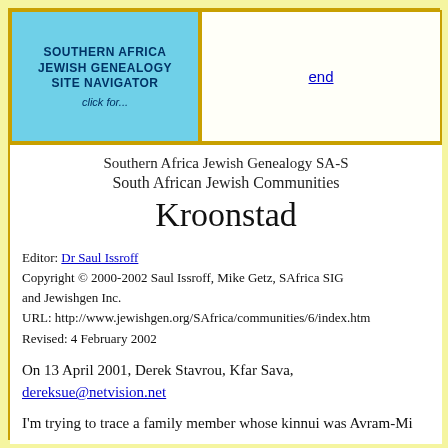[Figure (other): Navigation box: SOUTHERN AFRICA JEWISH GENEALOGY SITE NAVIGATOR click for...]
end
Southern Africa Jewish Genealogy SA-S
South African Jewish Communities
Kroonstad
Editor: Dr Saul Issroff
Copyright © 2000-2002 Saul Issroff, Mike Getz, SAfrica SIG and Jewishgen Inc.
URL: http://www.jewishgen.org/SAfrica/communities/6/index.htm
Revised: 4 February 2002
On 13 April 2001, Derek Stavrou, Kfar Sava, dereksue@netvision.net
I'm trying to trace a family member whose kinnui was Avram-Mi